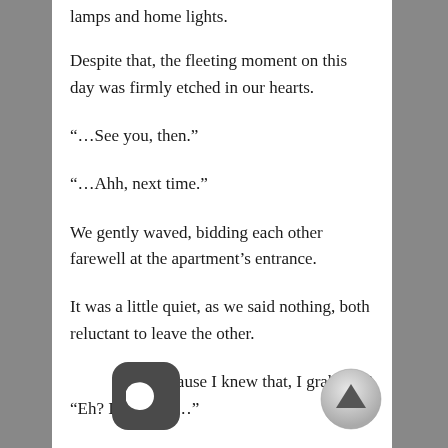lamps and home lights.
Despite that, the fleeting moment on this day was firmly etched in our hearts.
“…See you, then.”
“…Ahh, next time.”
We gently waved, bidding each other farewell at the apartment’s entrance.
It was a little quiet, as we said nothing, both reluctant to leave the other.
nd because I knew that, I grabbed Ayai’s wri…
“Eh? I ride, hm…”